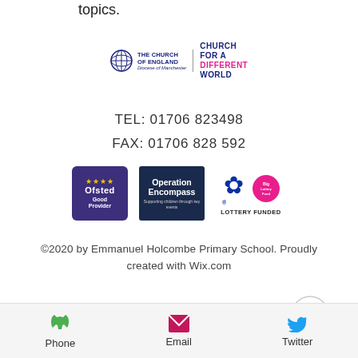topics.
[Figure (logo): The Church of England Diocese of Manchester logo with 'Church for a Different World' tagline]
TEL: 01706 823498
FAX: 01706 828 592
[Figure (logo): Row of three logos: Ofsted Good Provider, Operation Encompass, and National Lottery Funded]
©2020 by Emmanuel Holcombe Primary School. Proudly created with Wix.com
[Figure (other): Scroll to top button (chevron up in circle)]
Phone  Email  Twitter navigation bar at bottom